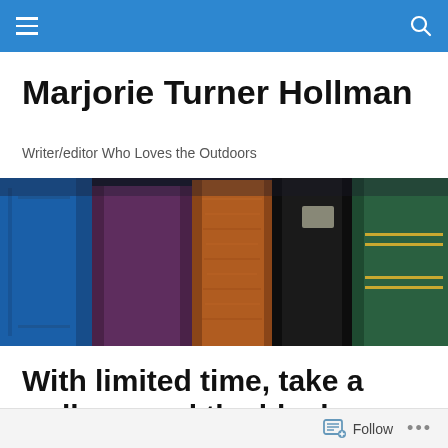Marjorie Turner Hollman
Writer/editor Who Loves the Outdoors
[Figure (photo): A row of old hardcover books standing upright, showing their spines. Colors include blue, purple/maroon, brown/orange, dark black, and green with gold decorative lines.]
With limited time, take a walk around the block
Follow ...